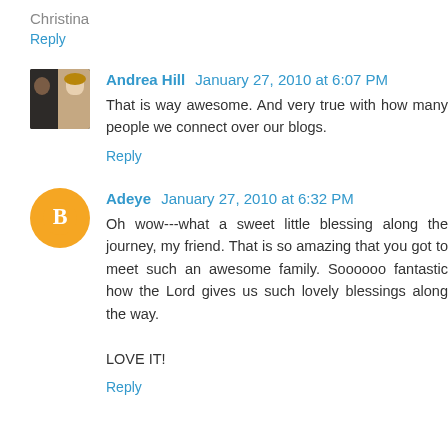Christina
Reply
Andrea Hill  January 27, 2010 at 6:07 PM
That is way awesome. And very true with how many people we connect over our blogs.
Reply
Adeye  January 27, 2010 at 6:32 PM
Oh wow---what a sweet little blessing along the journey, my friend. That is so amazing that you got to meet such an awesome family. Soooooo fantastic how the Lord gives us such lovely blessings along the way.

LOVE IT!
Reply